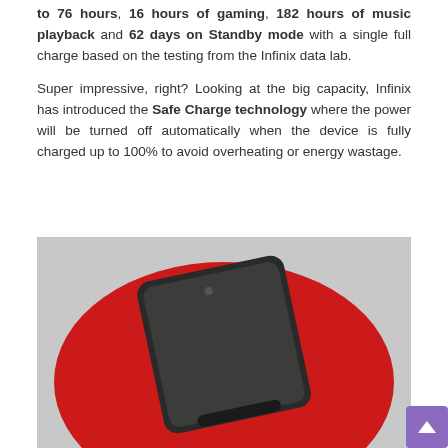to 76 hours, 16 hours of gaming, 182 hours of music playback and 62 days on Standby mode with a single full charge based on the testing from the Infinix data lab.
Super impressive, right? Looking at the big capacity, Infinix has introduced the Safe Charge technology where the power will be turned off automatically when the device is fully charged up to 100% to avoid overheating or energy wastage.
[Figure (photo): A smartphone (Infinix device) with a dark screen placed on a red circular fabric/pad against a light gray background.]